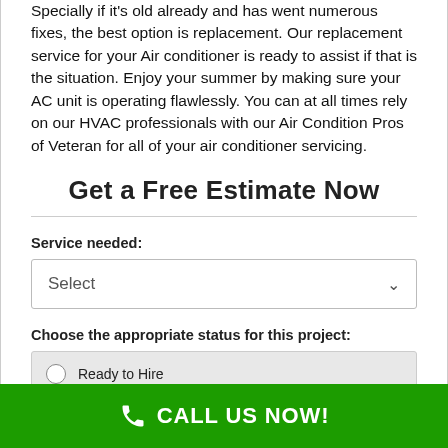Specially if it's old already and has went numerous fixes, the best option is replacement. Our replacement service for your Air conditioner is ready to assist if that is the situation. Enjoy your summer by making sure your AC unit is operating flawlessly. You can at all times rely on our HVAC professionals with our Air Condition Pros of Veteran for all of your air conditioner servicing.
Get a Free Estimate Now
Service needed:
Select
Choose the appropriate status for this project:
Ready to Hire
Planning & Budgeting
CALL US NOW!